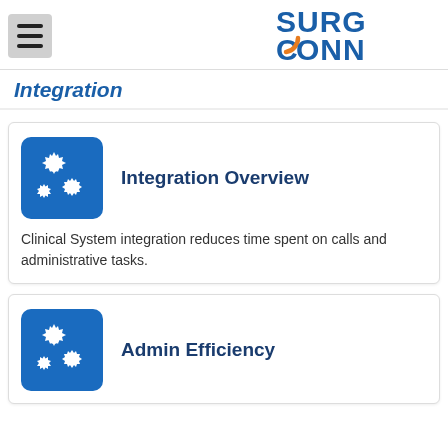[Figure (logo): SurgConnect logo with blue text 'SURG' and 'CONN' with orange circular accent on the C]
Integration
[Figure (illustration): Blue square icon with white gear/cog symbols representing integration settings]
Integration Overview
Clinical System integration reduces time spent on calls and administrative tasks.
[Figure (illustration): Blue square icon with white gear/cog symbols representing admin settings]
Admin Efficiency